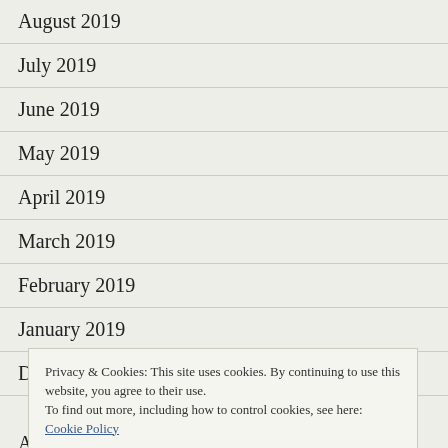August 2019
July 2019
June 2019
May 2019
April 2019
March 2019
February 2019
January 2019
December 2018
Privacy & Cookies: This site uses cookies. By continuing to use this website, you agree to their use.
To find out more, including how to control cookies, see here: Cookie Policy
August 2018